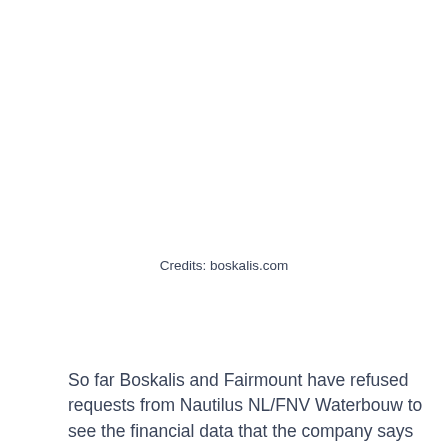Credits: boskalis.com
So far Boskalis and Fairmount have refused requests from Nautilus NL/FNV Waterbouw to see the financial data that the company says justifies its plan.
ITF maritime coordinator Jacqueline Smith said: “Boskalis continues to make a healthy profit, so it is clear that this is another case of crude social dumping – using highly vulnerable workers to do skilled work for low pay. The company plans to use